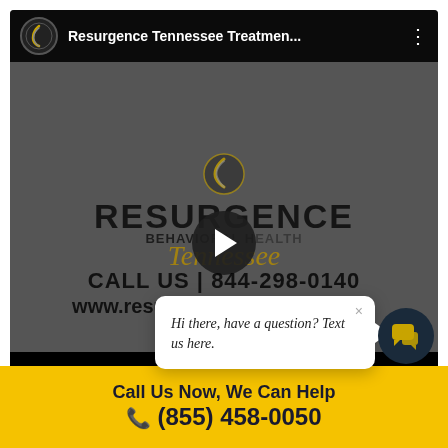[Figure (screenshot): YouTube video thumbnail showing Resurgence Tennessee Treatment Center branding with company logo, name, phone number 844-298-0140, and website www.resurgencetennessee.com on a dark background. Video title bar reads 'Resurgence Tennessee Treatmen...']
Hi there, have a question? Text us here.
Call Us Now, We Can Help
(855) 458-0050